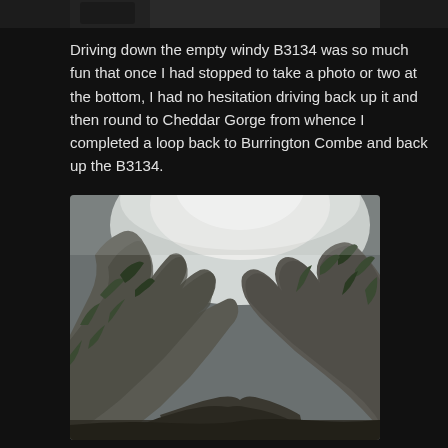[Figure (photo): Dark top strip image, partial photo at very top of page]
Driving down the empty windy B3134 was so much fun that once I had stopped to take a photo or two at the bottom, I had no hesitation driving back up it and then round to Cheddar Gorge from whence I completed a loop back to Burrington Combe and back up the B3134.
[Figure (photo): Photograph of rocky gorge cliffs with vegetation, misty sky above, taken looking upward at narrow rocky canyon walls]